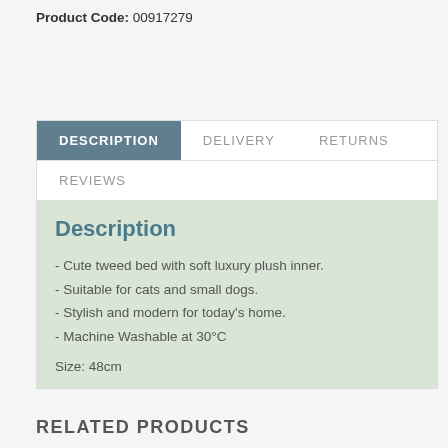Product Code: 00917279
DESCRIPTION | DELIVERY | RETURNS | REVIEWS
Description
- Cute tweed bed with soft luxury plush inner.
- Suitable for cats and small dogs.
- Stylish and modern for today's home.
- Machine Washable at 30°C
Size: 48cm
RELATED PRODUCTS